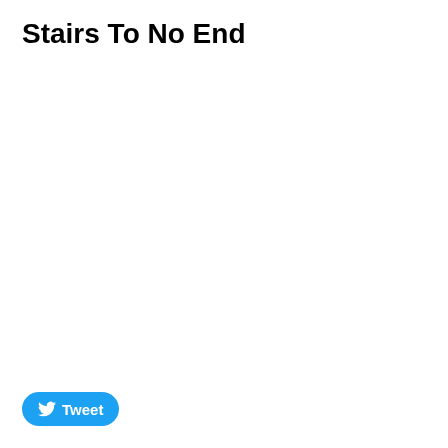Stairs To No End
[Figure (other): Tweet button with Twitter bird logo and text 'Tweet' on a blue rounded rectangle button]